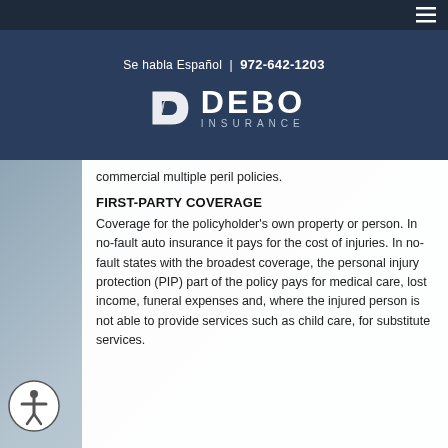Se habla Español | 972-642-1203
[Figure (logo): Debo Insurance logo with stylized D icon and DEBO INSURANCE text in white on dark blue background]
commercial multiple peril policies.
FIRST-PARTY COVERAGE
Coverage for the policyholder's own property or person. In no-fault auto insurance it pays for the cost of injuries. In no-fault states with the broadest coverage, the personal injury protection (PIP) part of the policy pays for medical care, lost income, funeral expenses and, where the injured person is not able to provide services such as child care, for substitute services.